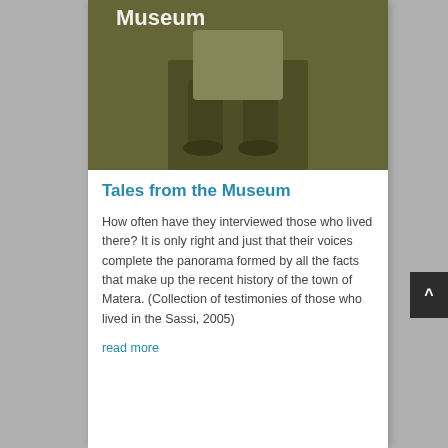[Figure (photo): Book cover image for 'Tales from the Museum' showing a vintage sepia-toned photograph of a person's lower body/feet, with white text 'Museum' overlaid at the top]
Tales from the Museum
How often have they interviewed those who lived there? It is only right and just that their voices complete the panorama formed by all the facts that make up the recent history of the town of Matera. (Collection of testimonies of those who lived in the Sassi, 2005)
read more